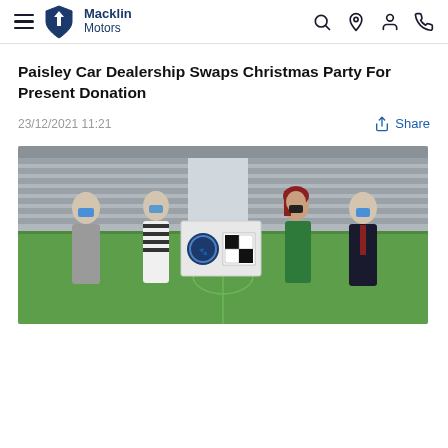Macklin Motors navigation bar
Paisley Car Dealership Swaps Christmas Party For Present Donation
23/12/2021 11:21
[Figure (photo): Four people wearing face masks standing in a football stadium, holding a box with Paisley and Macklin Motors logos. Green pitch and stadium stands visible in background.]